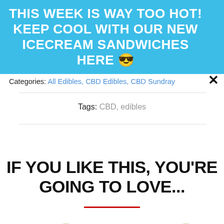[Figure (infographic): Blue promotional banner with bold white uppercase text: THIS WEEK IS WAY TOO HOT! KEEP COOL WITH OUR NEW ICECREAM SANDWICHES HERE 😎]
Categories: All Edibles, CBD Edibles, CBD Sunday
Tags: CBD, edibles
IF YOU LIKE THIS, YOU'RE GOING TO LOVE...
[Figure (logo): Circular logo with flower/mandala design in red, yellow, green on white background - left product]
[Figure (logo): Circular logo with flower/mandala design in red, yellow, green on white background - right product with SOLD OUT badge]